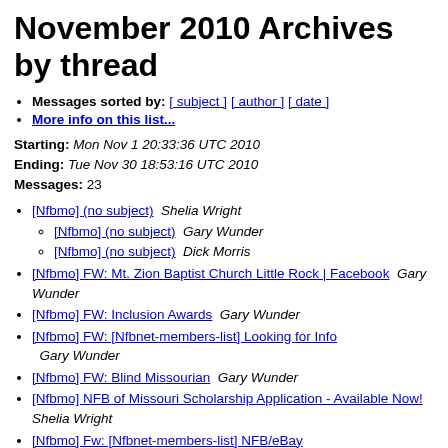November 2010 Archives by thread
Messages sorted by: [ subject ] [ author ] [ date ]
More info on this list...
Starting: Mon Nov 1 20:33:36 UTC 2010
Ending: Tue Nov 30 18:53:16 UTC 2010
Messages: 23
[Nfbmo] (no subject)  Shelia Wright
[Nfbmo] (no subject)  Gary Wunder
[Nfbmo] (no subject)  Dick Morris
[Nfbmo] FW: Mt. Zion Baptist Church Little Rock | Facebook  Gary Wunder
[Nfbmo] FW: Inclusion Awards  Gary Wunder
[Nfbmo] FW: [Nfbnet-members-list] Looking for Info  Gary Wunder
[Nfbmo] FW: Blind Missourian  Gary Wunder
[Nfbmo] NFB of Missouri Scholarship Application - Available Now!  Shelia Wright
[Nfbmo] Fw: [Nfbnet-members-list] NFB/eBay Entrepreneurs Project  James Moynihan